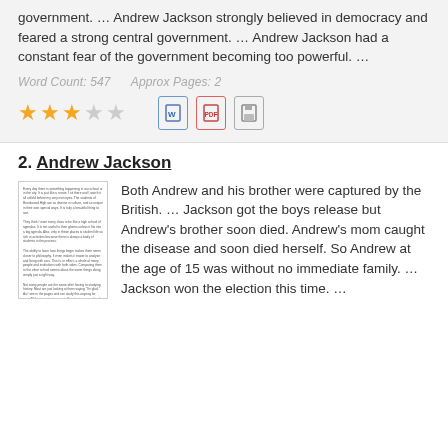government. … Andrew Jackson strongly believed in democracy and feared a strong central government. … Andrew Jackson had a constant fear of the government becoming too powerful. …
Word Count: 547    Approx Pages: 2
[Figure (other): Star rating: 3 out of 5 stars, plus Word, PDF, and Save icons]
2. Andrew Jackson
[Figure (other): Thumbnail preview of the Andrew Jackson essay document]
Both Andrew and his brother were captured by the British. … Jackson got the boys release but Andrew's brother soon died. Andrew's mom caught the disease and soon died herself. So Andrew at the age of 15 was without no immediate family. … Jackson won the election this time. …